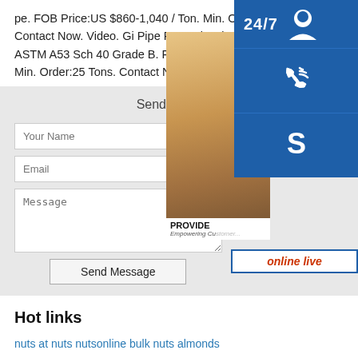pe. FOB Price:US $860-1,040 / Ton. Min. Order:25 Tons. Contact Now. Video. Gi Pipe Pre Galvanized Round Steel Pipe ASTM A53 Sch 40 Grade B. FOB Price:US $860-1,040 / Ton. Min. Order:25 Tons. Contact Now.
Send Message
Your Name
Email
Message
Send Message
[Figure (photo): Customer service representative photo with headset, overlaid with 24/7 support icons (headset, phone, Skype), a 'PROVIDE Empowering Cu...' label, and 'online live' bar.]
Hot links
nuts at nuts nutsonline bulk nuts almonds